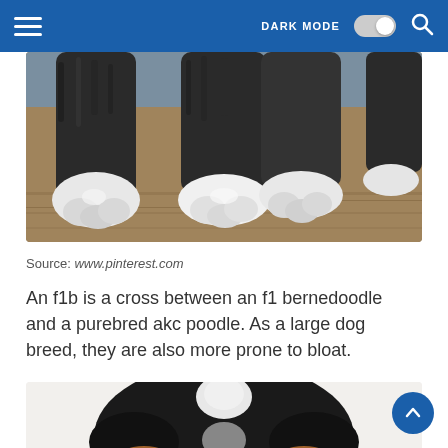DARK MODE [toggle] [search]
[Figure (photo): Close-up photo of fluffy dog paws (black and white fur) resting on a wooden floor. Two front paws visible with white tips. Background shows a blue/grey wall.]
Source: www.pinterest.com
An f1b is a cross between an f1 bernedoodle and a purebred akc poodle. As a large dog breed, they are also more prone to bloat.
[Figure (photo): Close-up photo of a bernedoodle puppy face from above, showing black, white and tan/brown fur pattern on the top of its head, resting on a light grey/white surface.]